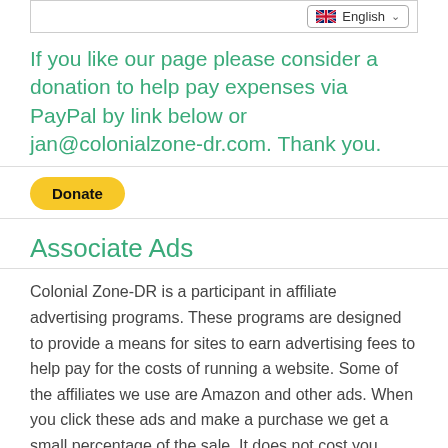[Figure (screenshot): Language selector dropdown showing a UK/US flag and 'English' text with a chevron, inside a bordered box]
If you like our page please consider a donation to help pay expenses via PayPal by link below or jan@colonialzone-dr.com. Thank you.
[Figure (other): Yellow PayPal Donate button with rounded corners and bold black 'Donate' text]
Associate Ads
Colonial Zone-DR is a participant in affiliate advertising programs. These programs are designed to provide a means for sites to earn advertising fees to help pay for the costs of running a website. Some of the affiliates we use are Amazon and other ads. When you click these ads and make a purchase we get a small percentage of the sale. It does not cost you anything. Thank you in advance for visiting our